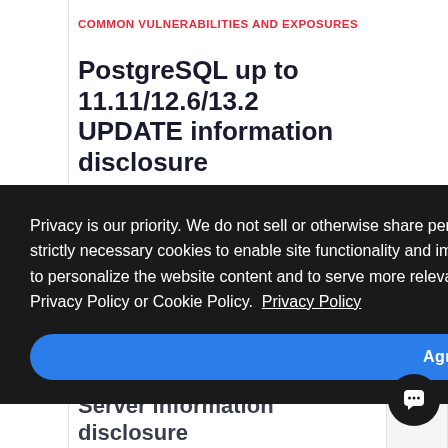COMMON VULNERABILITIES AND EXPOSURES
PostgreSQL up to 11.11/12.6/13.2 UPDATE information disclosure
Privacy is our priority. We do not sell or otherwise share personal information for money or anything of value. We use strictly necessary cookies to enable site functionality and improve the performance of our website. We also store cookies to personalize the website content and to serve more relevant content to you. For more information please visit our Privacy Policy or Cookie Policy.  Privacy Policy
Agree All
PostgreSQL up to 11.12/12.7/13.3 Server information disclosure